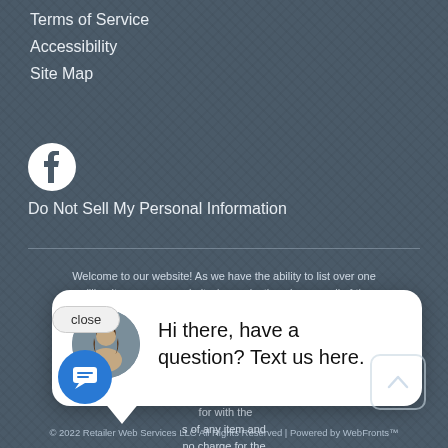Terms of Service
Accessibility
Site Map
[Figure (logo): Facebook circular logo icon in white on dark background]
Do Not Sell My Personal Information
Welcome to our website! As we have the ability to list over one million items on our website (our selection changes all of the time), it is not feasible for a company our size to record and playback the descriptions on every item on our website. However, if you have a disability we are here to help you. Please call our disability services phone line at (316) 794-3061 during regular business hours and one of our kind and friendly personal shoppers will help you navigate through our website, help conduct advanced searches, help you choose the item you are looking for with the specifications you are seeking, read you the specifications of any item and consult with you about the products themselves. There is no charge for the help of this personal shopper for anyone with a disability. Finally, your personal shopper will explain our Privacy Policy and Terms of Service, and help you place an order if you so desire.
[Figure (screenshot): Chat popup with avatar of a woman and text: Hi there, have a question? Text us here.]
© 2022 Retailer Web Services LLC All Rights Reserved | Powered by WebFronts™